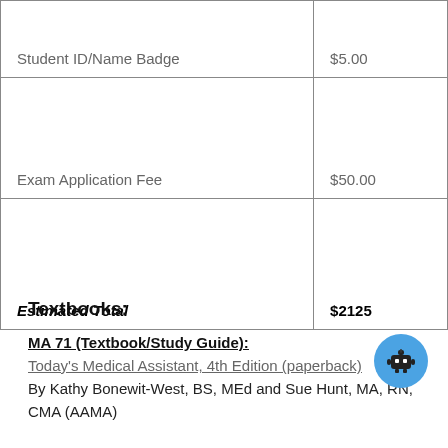| Item | Cost |
| --- | --- |
| Student ID/Name Badge | $5.00 |
| Exam Application Fee | $50.00 |
| Estimated Total | $2125 |
Textbooks:
MA 71 (Textbook/Study Guide):
Today's Medical Assistant, 4th Edition (paperback)
By Kathy Bonewit-West, BS, MEd and Sue Hunt, MA, RN, CMA (AAMA)